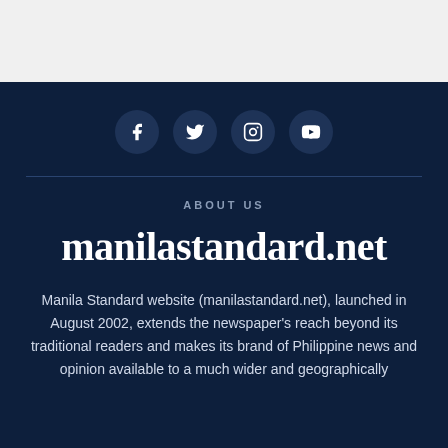[Figure (illustration): Social media icons: Facebook, Twitter, Instagram, YouTube in dark circular buttons on navy background]
ABOUT US
manilastandard.net
Manila Standard website (manilastandard.net), launched in August 2002, extends the newspaper's reach beyond its traditional readers and makes its brand of Philippine news and opinion available to a much wider and geographically